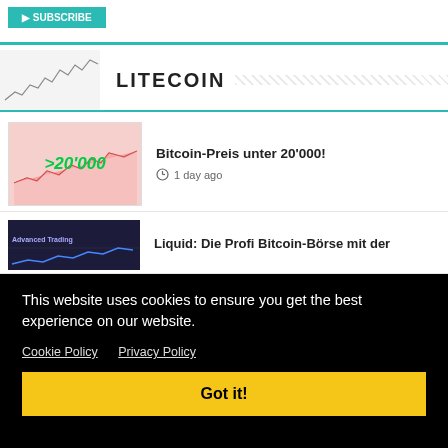[Figure (screenshot): Top navigation bar with teal/turquoise button and teal bottom border]
LITECOIN
Bitcoin-Preis unter 20'000!
1 day ago
Liquid: Die Profi Bitcoin-Börse mit der
This website uses cookies to ensure you get the best experience on our website. Cookie Policy  Privacy Policy
Got it!
Twitter Spat Over XRP